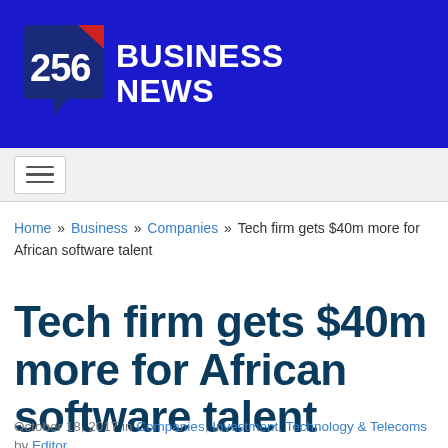[Figure (logo): 256 Business News logo — dark blue speech bubble with '256' in white and red chevron accent, with 'BUSINESS NEWS' in bold white text to the right, on a blue banner background]
[Figure (other): Navigation bar with hamburger menu button (three horizontal lines)]
Home » Business » Companies » Tech firm gets $40m more for African software talent
Tech firm gets $40m more for African software talent
October 18, 2017 in Companies, Investment, Technology & Telecoms by Editor